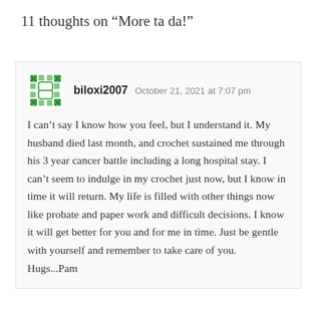11 thoughts on “More ta da!”
biloxi2007   October 21, 2021 at 7:07 pm
I can't say I know how you feel, but I understand it. My husband died last month, and crochet sustained me through his 3 year cancer battle including a long hospital stay. I can’t seem to indulge in my crochet just now, but I know in time it will return. My life is filled with other things now like probate and paper work and difficult decisions. I know it will get better for you and for me in time. Just be gentle with yourself and remember to take care of you. Hugs...Pam